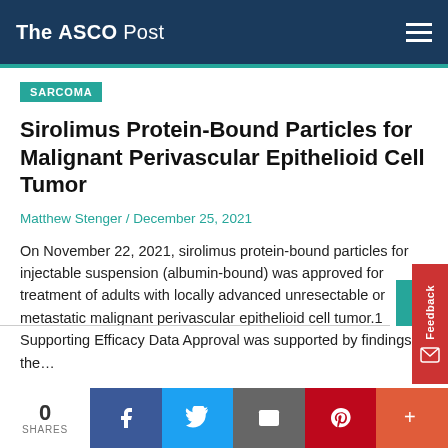The ASCO Post
SARCOMA
Sirolimus Protein-Bound Particles for Malignant Perivascular Epithelioid Cell Tumor
Matthew Stenger / December 25, 2021
On November 22, 2021, sirolimus protein-bound particles for injectable suspension (albumin-bound) was approved for treatment of adults with locally advanced unresectable or metastatic malignant perivascular epithelioid cell tumor.1 Supporting Efficacy Data Approval was supported by findings in the...